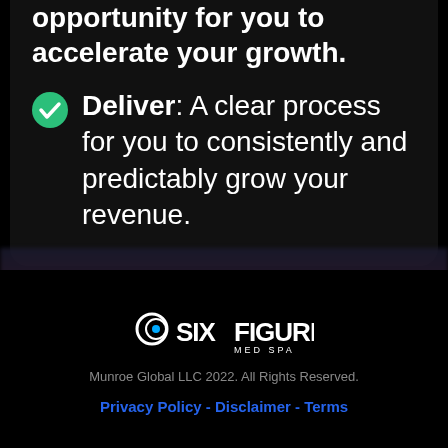opportunity for you to accelerate your growth.
Deliver: A clear process for you to consistently and predictably grow your revenue.
[Figure (other): Blurred dark section showing partially obscured content]
[Figure (logo): Six Figure Med Spa logo in white on black background]
Munroe Global LLC 2022. All Rights Reserved.
Privacy Policy - Disclaimer - Terms